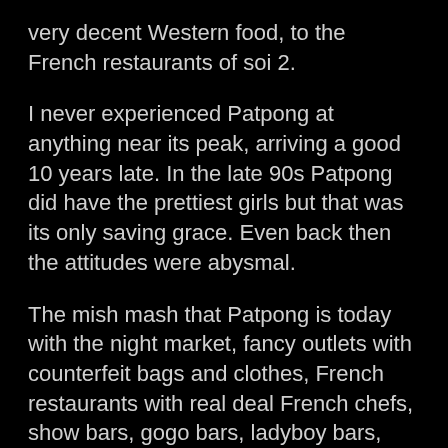very decent Western food, to the French restaurants of soi 2.
I never experienced Patpong at anything near its peak, arriving a good 10 years late. In the late 90s Patpong did have the prettiest girls but that was its only saving grace. Even back then the attitudes were abysmal.
The mish mash that Patpong is today with the night market, fancy outlets with counterfeit bags and clothes, French restaurants with real deal French chefs, show bars, gogo bars, ladyboy bars, hostess bars, blowjob bars, rip-off upstairs bars, pussy shows, aggressive touts and first-time visitors reminds me of a schizophrenic with an identity crisis. But...